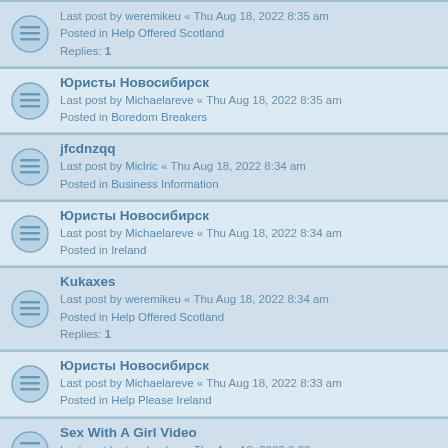Last post by weremikeu « Thu Aug 18, 2022 8:35 am
Posted in Help Offered Scotland
Replies: 1
Юристы Новосибирск
Last post by Michaelareve « Thu Aug 18, 2022 8:35 am
Posted in Boredom Breakers
jfcdnzqq
Last post by Miclric « Thu Aug 18, 2022 8:34 am
Posted in Business Information
Юристы Новосибирск
Last post by Michaelareve « Thu Aug 18, 2022 8:34 am
Posted in Ireland
Kukaxes
Last post by weremikeu « Thu Aug 18, 2022 8:34 am
Posted in Help Offered Scotland
Replies: 1
Юристы Новосибирск
Last post by Michaelareve « Thu Aug 18, 2022 8:33 am
Posted in Help Please Ireland
Sex With A Girl Video
Last post by topchecker « Thu Aug 18, 2022 8:33 am
Posted in Help Offered Scotland
Mobilnich Casino Česká, Automaty Online Paysafecard
Last post by weremikeu « Thu Aug 18, 2022 8:33 am
Posted in Help Offered Scotland
Replies: 1
Юристы Новосибирск